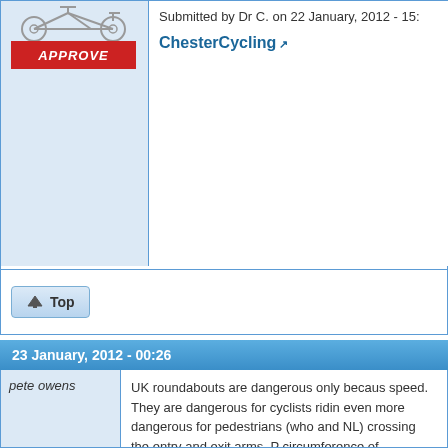[Figure (illustration): Bicycle illustration with APPROVE red button below it]
Submitted by Dr C. on 22 January, 2012 - 15:
ChesterCycling (external link)
Top (button)
23 January, 2012 - 00:26
pete owens
UK roundabouts are dangerous only becaus speed. They are dangerous for cyclists ridin even more dangerous for pedestrians (who and NL) crossing the entry and exit arms. P circumference of roundabouts makes the ev approaching the junction from a direction wh traffic.

Continental roundabout geometry is very mu pedestrians, because you are slowing dow